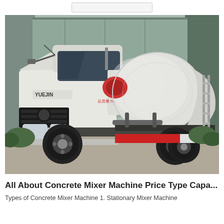[Figure (photo): A white Yuejin concrete mixer truck with a large white and red rotating drum mounted on the rear, parked in front of an industrial building. Chinese text on the side reads the gross vehicle weight. Red accents visible on the lower chassis and drum cap.]
All About Concrete Mixer Machine Price Type Capa...
Types of Concrete Mixer Machine 1. Stationary Mixer Machine